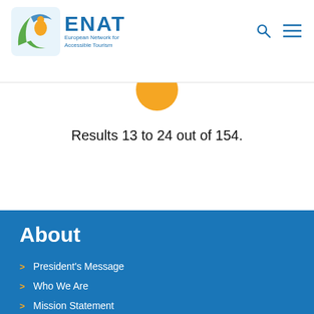ENAT European Network for Accessible Tourism
[Figure (logo): Orange circle/arc partially visible at top of content area]
Results 13 to 24 out of 154.
About
President's Message
Who We Are
Mission Statement